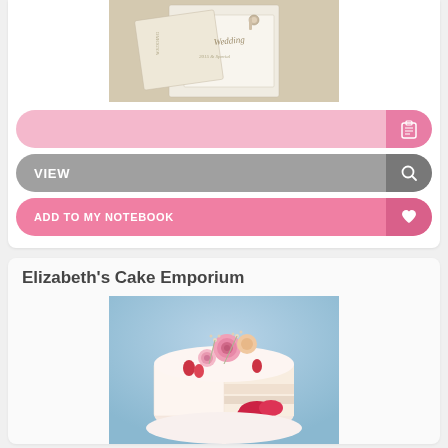[Figure (photo): Wedding stationery / invitation cards in cream/ivory, showing handwritten 'Wedding' text with decorative elements]
[Figure (other): Pink pill-shaped button with clipboard icon on right]
[Figure (other): Gray pill-shaped VIEW button with magnifier icon on right]
[Figure (other): Pink pill-shaped ADD TO MY NOTEBOOK button with heart icon on right]
Elizabeth's Cake Emporium
[Figure (photo): Close-up of a sliced wedding cake decorated with pink roses, dried flowers, and fresh strawberries inside]